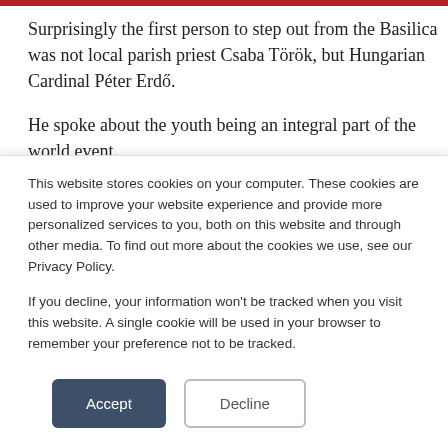Surprisingly the first person to step out from the Basilica was not local parish priest Csaba Török, but Hungarian Cardinal Péter Erdő.
He spoke about the youth being an integral part of the world event.
[Figure (photo): Outdoor photo showing a crowd and a tall white figure (possibly a statue or person in white garb) being carried or displayed, with trees and a hillside in the background.]
This website stores cookies on your computer. These cookies are used to improve your website experience and provide more personalized services to you, both on this website and through other media. To find out more about the cookies we use, see our Privacy Policy.

If you decline, your information won't be tracked when you visit this website. A single cookie will be used in your browser to remember your preference not to be tracked.